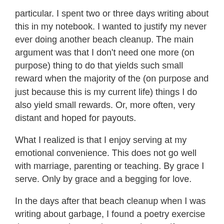particular. I spent two or three days writing about this in my notebook. I wanted to justify my never ever doing another beach cleanup. The main argument was that I don't need one more (on purpose) thing to do that yields such small reward when the majority of the (on purpose and just because this is my current life) things I do also yield small rewards. Or, more often, very distant and hoped for payouts.
What I realized is that I enjoy serving at my emotional convenience. This does not go well with marriage, parenting or teaching. By grace I serve. Only by grace and a begging for love.
In the days after that beach cleanup when I was writing about garbage, I found a poetry exercise that prompted a surprise metaphor, a gift to me. I was writing about carelessness and trash and who picks it all up? And then I was writing about my dad. His mother was unkind to him when he was boy, said terrible things to him. I saw Dad as this kid that got all this trash chucked at him. And who picks it all up, years later when it's still wedged in a crevice? This poem came from a morning that felt